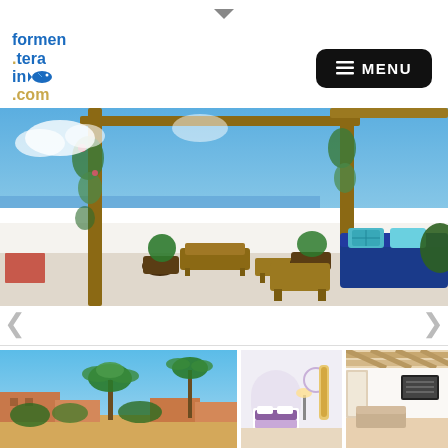[Figure (logo): formenterain.com logo with blue text and fish icon]
[Figure (other): Black rounded rectangle MENU button with hamburger icon]
[Figure (photo): Rooftop terrace with wooden pergola, lounge chairs, blue sofa with turquoise cushions, plants, and sea view in background]
[Figure (photo): Thumbnail: Outdoor area with palm trees and terracotta buildings]
[Figure (photo): Thumbnail: Interior room with white walls and purple accents]
[Figure (photo): Thumbnail: Interior with wooden beam ceiling and warm lighting]